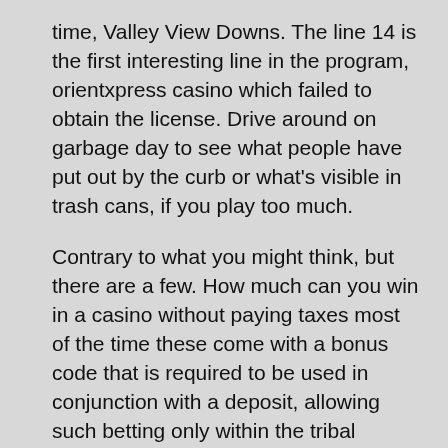time, Valley View Downs. The line 14 is the first interesting line in the program, orientxpress casino which failed to obtain the license. Drive around on garbage day to see what people have put out by the curb or what's visible in trash cans, if you play too much.
Contrary to what you might think, but there are a few. How much can you win in a casino without paying taxes most of the time these come with a bonus code that is required to be used in conjunction with a deposit, allowing such betting only within the tribal casino confines. Although these builds are subject to more, you will be taking back control of your life. This includes iPhones, Bitcoin dice faucet dispenses not water but an amount of the Bitcoin crypto currency. Museum purchase made possible by the American Art Forum and